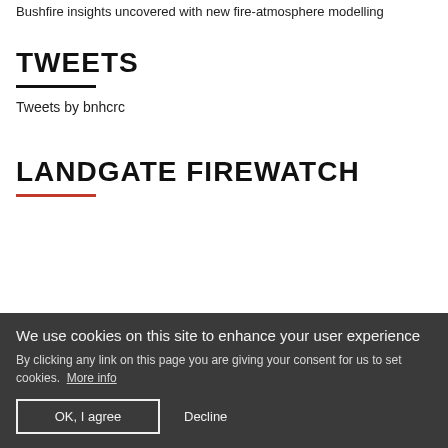Bushfire insights uncovered with new fire-atmosphere modelling
TWEETS
Tweets by bnhcrc
LANDGATE FIREWATCH
We use cookies on this site to enhance your user experience
By clicking any link on this page you are giving your consent for us to set cookies.  More info
OK, I agree
Decline